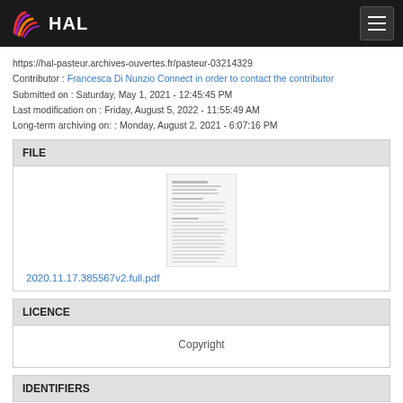HAL
https://hal-pasteur.archives-ouvertes.fr/pasteur-03214329
Contributor : Francesca Di Nunzio Connect in order to contact the contributor
Submitted on : Saturday, May 1, 2021 - 12:45:45 PM
Last modification on : Friday, August 5, 2022 - 11:55:49 AM
Long-term archiving on: : Monday, August 2, 2021 - 6:07:16 PM
FILE
[Figure (screenshot): Thumbnail of PDF document: 2020.11.17.385567v2.full.pdf]
2020.11.17.385567v2.full.pdf
LICENCE
Copyright
IDENTIFIERS